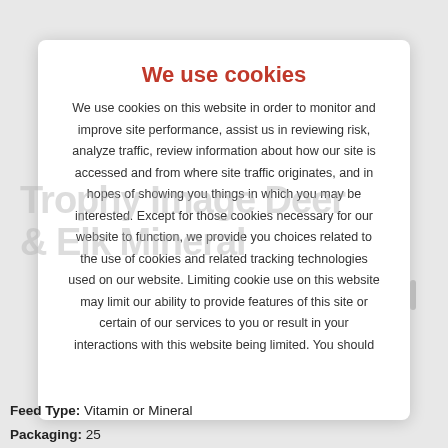We use cookies
We use cookies on this website in order to monitor and improve site performance, assist us in reviewing risk, analyze traffic, review information about how our site is accessed and from where site traffic originates, and in hopes of showing you things in which you may be interested. Except for those cookies necessary for our website to function, we provide you choices related to the use of cookies and related tracking technologies used on our website. Limiting cookie use on this website may limit our ability to provide features of this site or certain of our services to you or result in your interactions with this website being limited. You should
Feed Type: Vitamin or Mineral
Packaging: 25